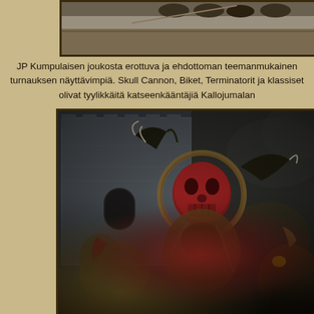[Figure (photo): Top cropped photo showing miniature figurines/models, partially visible at top of page with dark border]
JP Kumpulaisen joukosta erottuva ja ehdottoman teemanmukainen turnauksen näyttävimpiä. Skull Cannon, Biket, Terminatorit ja klassiset olivat tyylikkäitä katseenkääntäjiä Kallojumalan
[Figure (photo): Close-up photo of Warhammer 40K/Fantasy miniature figures — red and dark-toned daemon/Khorne models in front of a grey stone castle terrain piece. The central figure has a large skull motif. Dramatic depth-of-field photography.]